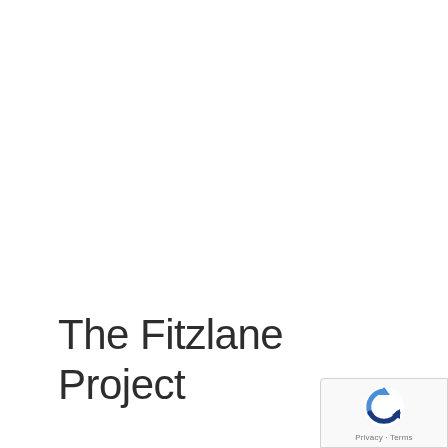The Fitzlane Project
[Figure (logo): Google reCAPTCHA badge with recycling-style arrow icon and Privacy/Terms links]